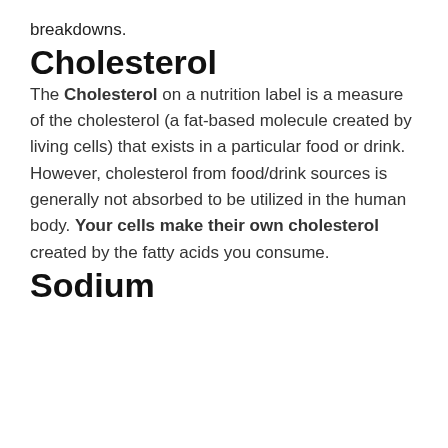breakdowns.
Cholesterol
The Cholesterol on a nutrition label is a measure of the cholesterol (a fat-based molecule created by living cells) that exists in a particular food or drink. However, cholesterol from food/drink sources is generally not absorbed to be utilized in the human body. Your cells make their own cholesterol created by the fatty acids you consume.
Sodium